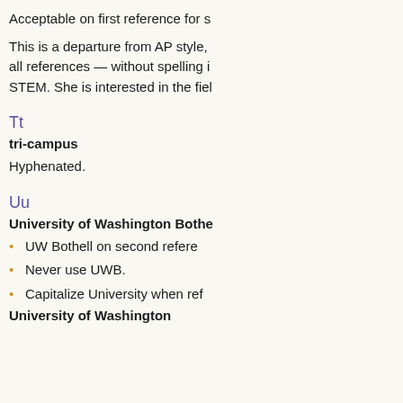Acceptable on first reference for s
This is a departure from AP style, all references — without spelling i STEM. She is interested in the fiel
Tt
tri-campus
Hyphenated.
Uu
University of Washington Bothe
UW Bothell on second refere
Never use UWB.
Capitalize University when ref
University of Washington